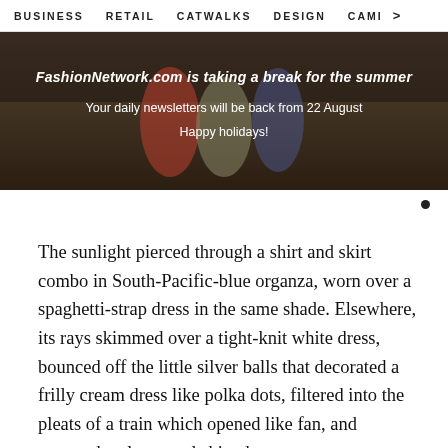BUSINESS   RETAIL   CATWALKS   DESIGN   CAMI  >
[Figure (photo): Banner image showing people outdoors with text overlay: FashionNetwork.com is taking a break for the summer / Your daily newsletters will be back from 22 August / Happy holidays!]
The sunlight pierced through a shirt and skirt combo in South-Pacific-blue organza, worn over a spaghetti-strap dress in the same shade. Elsewhere, its rays skimmed over a tight-knit white dress, bounced off the little silver balls that decorated a frilly cream dress like polka dots, filtered into the pleats of a train which opened like fan, and caressed a glossy teal shirt-dress.